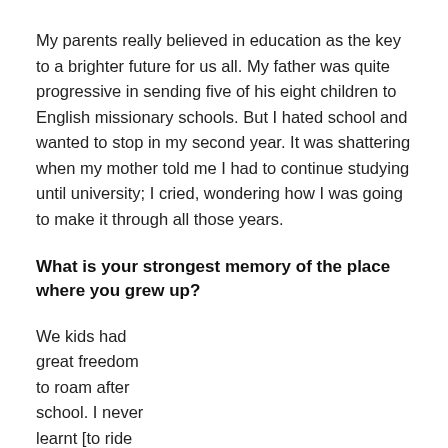My parents really believed in education as the key to a brighter future for us all. My father was quite progressive in sending five of his eight children to English missionary schools. But I hated school and wanted to stop in my second year. It was shattering when my mother told me I had to continue studying until university; I cried, wondering how I was going to make it through all those years.
What is your strongest memory of the place where you grew up?
We kids had great freedom to roam after school. I never learnt [to ride